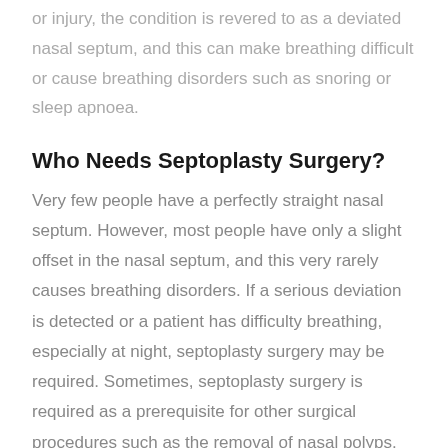or injury, the condition is revered to as a deviated nasal septum, and this can make breathing difficult or cause breathing disorders such as snoring or sleep apnoea.
Who Needs Septoplasty Surgery?
Very few people have a perfectly straight nasal septum. However, most people have only a slight offset in the nasal septum, and this very rarely causes breathing disorders. If a serious deviation is detected or a patient has difficulty breathing, especially at night, septoplasty surgery may be required. Sometimes, septoplasty surgery is required as a prerequisite for other surgical procedures such as the removal of nasal polyps.